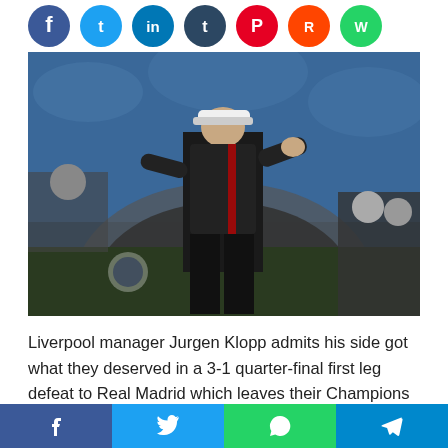[Figure (other): Row of social media share buttons: Facebook, Twitter, LinkedIn, Tumblr, Pinterest, Reddit, WhatsApp]
[Figure (photo): Liverpool manager Jurgen Klopp standing on the touchline, arms gesturing, wearing dark tracksuit, at a Champions League match]
Liverpool manager Jurgen Klopp admits his side got what they deserved in a 3-1 quarter-final first leg defeat to Real Madrid which leaves their Champions League hopes hanging by a thread.
[Figure (other): Bottom social share bar with Facebook, Twitter, WhatsApp, and Telegram buttons]